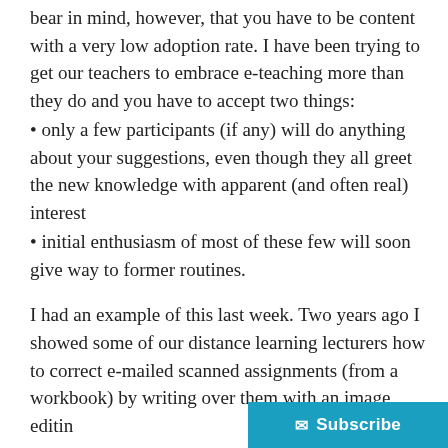bear in mind, however, that you have to be content with a very low adoption rate. I have been trying to get our teachers to embrace e-teaching more than they do and you have to accept two things:
• only a few participants (if any) will do anything about your suggestions, even though they all greet the new knowledge with apparent (and often real) interest
• initial enthusiasm of most of these few will soon give way to former routines.
I had an example of this last week. Two years ago I showed some of our distance learning lecturers how to correct e-mailed scanned assignments (from a workbook) by writing over them with an image editin